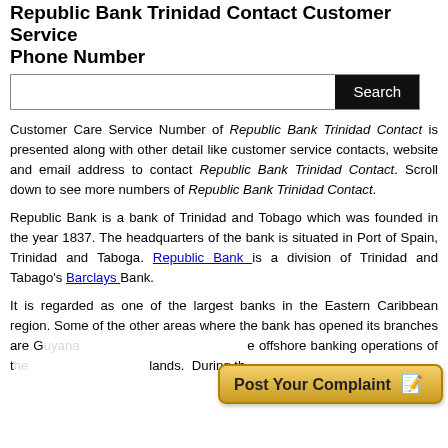Republic Bank Trinidad Contact Customer Service Phone Number
[Figure (other): Search bar with text input and black Search button]
Customer Care Service Number of Republic Bank Trinidad Contact is presented along with other detail like customer service contacts, website and email address to contact Republic Bank Trinidad Contact. Scroll down to see more numbers of Republic Bank Trinidad Contact.
Republic Bank is a bank of Trinidad and Tobago which was founded in the year 1837. The headquarters of the bank is situated in Port of Spain, Trinidad and Taboga. Republic Bank is a division of Trinidad and Tabago's Barclays Bank.
It is regarded as one of the largest banks in the Eastern Caribbean region. Some of the other areas where the bank has opened its branches are G... e offshore banking operations of t... lands. During th...
[Figure (other): Post Your Complaint button with pencil icon]